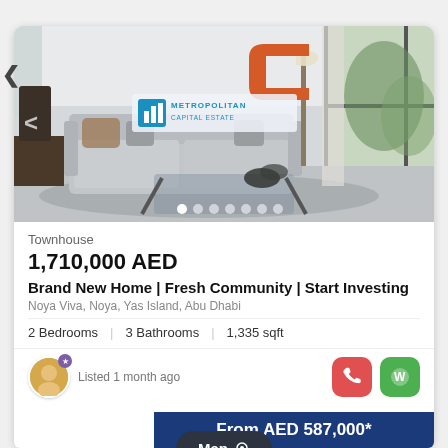[Figure (photo): Interior photo of a modern living room with grey sofa, glass coffee table, and Metropolitan Capital Estate logo watermark overlay. Navigation arrows and carousel dots visible.]
Townhouse
1,710,000 AED
Brand New Home | Fresh Community | Start Investing
Noya Viva, Noya, Yas Island, Abu Dhabi
2 Bedrooms  |  3 Bathrooms  |  1,335 sqft
Listed 1 month ago
Map
From AED 587,000*